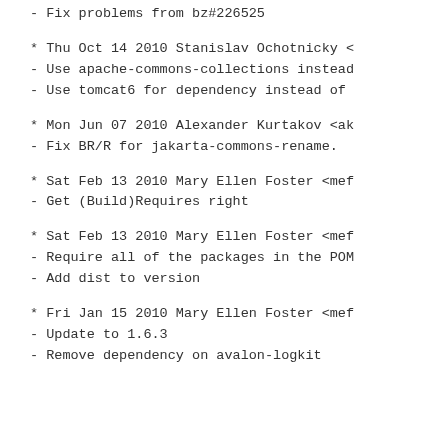- Fix problems from bz#226525
* Thu Oct 14 2010 Stanislav Ochotnicky <
- Use apache-commons-collections instead
- Use tomcat6 for dependency instead of
* Mon Jun 07 2010 Alexander Kurtakov <ak
- Fix BR/R for jakarta-commons-rename.
* Sat Feb 13 2010 Mary Ellen Foster <mef
- Get (Build)Requires right
* Sat Feb 13 2010 Mary Ellen Foster <mef
- Require all of the packages in the POM
- Add dist to version
* Fri Jan 15 2010 Mary Ellen Foster <mef
- Update to 1.6.3
- Remove dependency on avalon-logkit